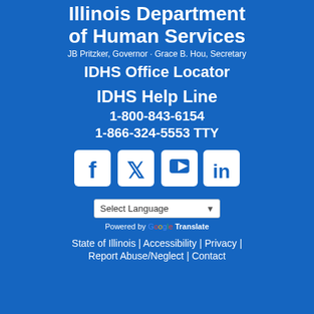Illinois Department of Human Services
JB Pritzker, Governor · Grace B. Hou, Secretary
IDHS Office Locator
IDHS Help Line
1-800-843-6154
1-866-324-5553 TTY
[Figure (logo): Social media icons: Facebook, Twitter, YouTube, LinkedIn]
Select Language
Powered by Google Translate
State of Illinois | Accessibility | Privacy | Report Abuse/Neglect | Contact